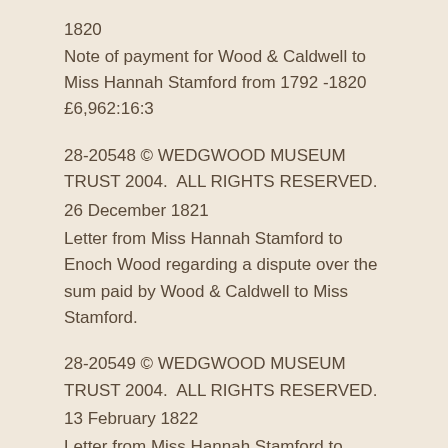1820
Note of payment for Wood & Caldwell to Miss Hannah Stamford from 1792 -1820 £6,962:16:3
28-20548 © WEDGWOOD MUSEUM TRUST 2004.  ALL RIGHTS RESERVED.
26 December 1821
Letter from Miss Hannah Stamford to Enoch Wood regarding a dispute over the sum paid by Wood & Caldwell to Miss Stamford.
28-20549 © WEDGWOOD MUSEUM TRUST 2004.  ALL RIGHTS RESERVED.
13 February 1822
Letter from Miss Hannah Stamford to Enoch Wood regarding a dispute over the sum paid by Wood & Caldwell to Miss Stamford.